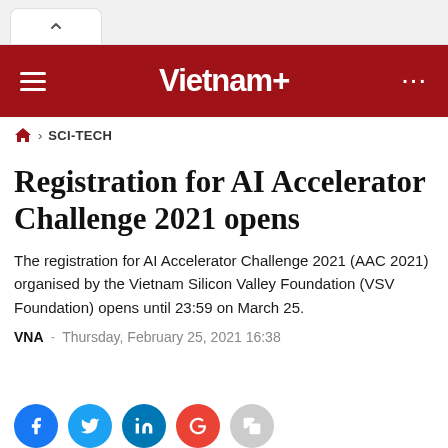Vietnam+ (VietnamPlus) — browser tab and navigation bar
SCI-TECH breadcrumb navigation
Registration for AI Accelerator Challenge 2021 opens
The registration for AI Accelerator Challenge 2021 (AAC 2021) organised by the Vietnam Silicon Valley Foundation (VSV Foundation) opens until 23:59 on March 25.
VNA — Thursday, February 25, 2021 16:38